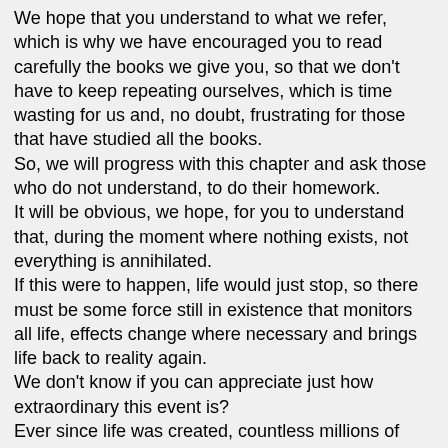We hope that you understand to what we refer, which is why we have encouraged you to read carefully the books we give you, so that we don't have to keep repeating ourselves, which is time wasting for us and, no doubt, frustrating for those that have studied all the books.
So, we will progress with this chapter and ask those who do not understand, to do their homework.
It will be obvious, we hope, for you to understand that, during the moment where nothing exists, not everything is annihilated.
If this were to happen, life would just stop, so there must be some force still in existence that monitors all life, effects change where necessary and brings life back to reality again.
We don't know if you can appreciate just how extraordinary this event is?
Ever since life was created, countless millions of years ago, a snapshot of every detail of the entire galaxy was taken (formed if you like) and recorded for all time in the Akashic Record and then the film rolled onto the next frame, but during the moment the film was rolling onto the next frame, everything was slightly altered both in time, movement and DNA and then another snapshot taken.
And this is happening billions of times a second and has been